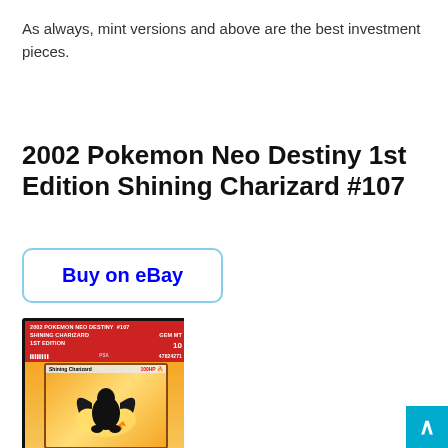As always, mint versions and above are the best investment pieces.
2002 Pokemon Neo Destiny 1st Edition Shining Charizard #107
Buy on eBay
[Figure (photo): PSA graded 2002 Pokemon Neo Destiny #107 Shining Charizard 1st Edition card in a red-labeled PSA slab showing GEM MT 10 grade, with the card art visible below showing Shining Charizard on an orange/yellow background.]